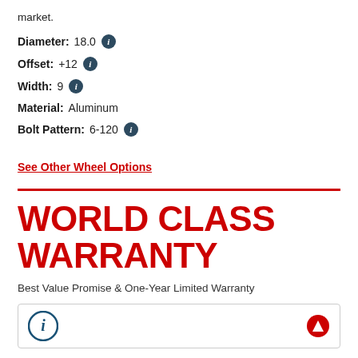market.
Diameter: 18.0
Offset: +12
Width: 9
Material: Aluminum
Bolt Pattern: 6-120
See Other Wheel Options
WORLD CLASS WARRANTY
Best Value Promise & One-Year Limited Warranty